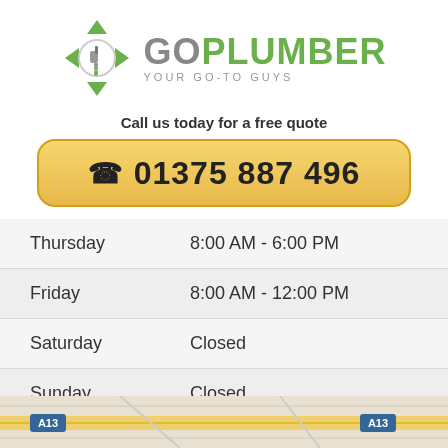[Figure (logo): GoPlumber logo with green faucet/wrench icon and text 'GOPLUMBER YOUR GO-TO GUYS']
Call us today for a free quote
☎ 01375 887 496
| Day | Hours |
| --- | --- |
| Thursday | 8:00 AM - 6:00 PM |
| Friday | 8:00 AM - 12:00 PM |
| Saturday | Closed |
| Sunday | Closed |
[Figure (map): Street map showing A13 road area]